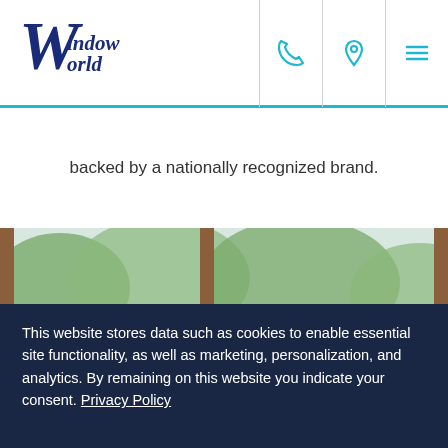Window World — navigation header with logo, phone, location, and menu icons
backed by a nationally recognized brand.
[Figure (photo): A smiling couple sitting on a gray sofa in a living room with large wooden-framed windows overlooking green trees.]
This website stores data such as cookies to enable essential site functionality, as well as marketing, personalization, and analytics. By remaining on this website you indicate your consent. Privacy Policy